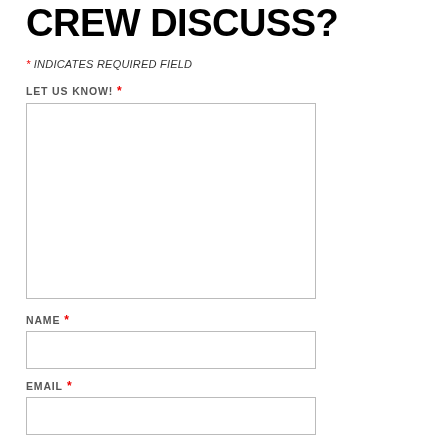CREW DISCUSS?
* INDICATES REQUIRED FIELD
LET US KNOW! *
[Figure (other): Large text input area (textarea) for user submission]
NAME *
[Figure (other): Single-line text input for name]
EMAIL *
[Figure (other): Single-line text input for email]